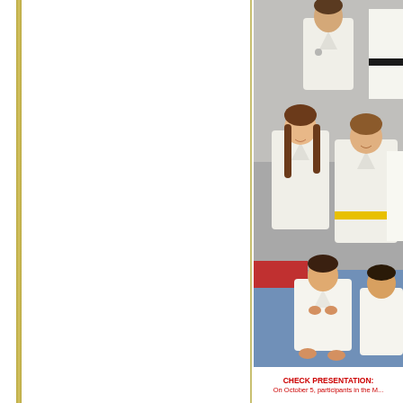[Figure (photo): Group photo of children and adults in white martial arts uniforms (gi/dobok), posed in three rows. Top row shows a teenager and an adult instructor. Middle row shows two girls smiling, one wearing a yellow belt. Bottom row shows two younger children seated on a blue mat.]
CHECK PRESENTATION: On October 5, participants in the M...